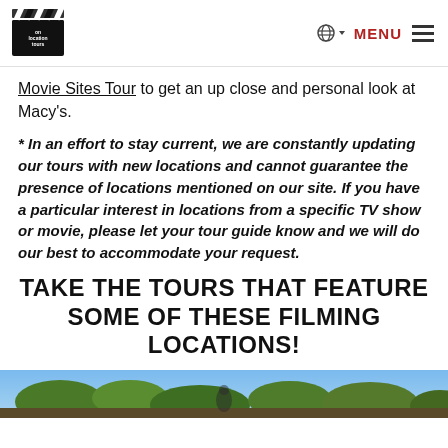on location tours — MENU
Movie Sites Tour to get an up close and personal look at Macy's.
* In an effort to stay current, we are constantly updating our tours with new locations and cannot guarantee the presence of locations mentioned on our site. If you have a particular interest in locations from a specific TV show or movie, please let your tour guide know and we will do our best to accommodate your request.
TAKE THE TOURS THAT FEATURE SOME OF THESE FILMING LOCATIONS!
[Figure (photo): Photo strip showing outdoor filming location scene]